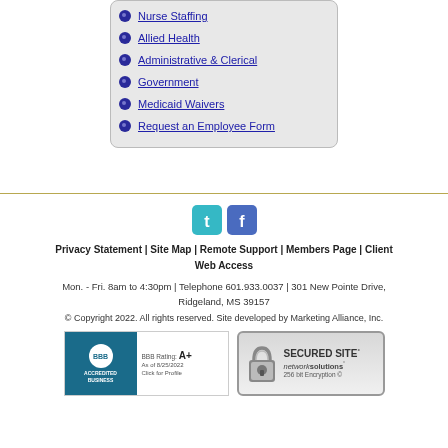Nurse Staffing
Allied Health
Administrative & Clerical
Government
Medicaid Waivers
Request an Employee Form
[Figure (illustration): Twitter and Facebook social media icons]
Privacy Statement | Site Map | Remote Support | Members Page | Client Web Access
Mon. - Fri. 8am to 4:30pm | Telephone 601.933.0037 | 301 New Pointe Drive, Ridgeland, MS 39157
© Copyright 2022. All rights reserved. Site developed by Marketing Alliance, Inc.
[Figure (logo): BBB Accredited Business badge with A+ rating as of 8/25/2022]
[Figure (logo): Secured Site - Network Solutions 256 bit Encryption badge]